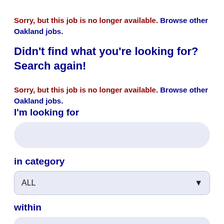Sorry, but this job is no longer available. Browse other Oakland jobs.
Didn't find what you're looking for? Search again!
Sorry, but this job is no longer available. Browse other Oakland jobs.
I'm looking for
in category
ALL
within